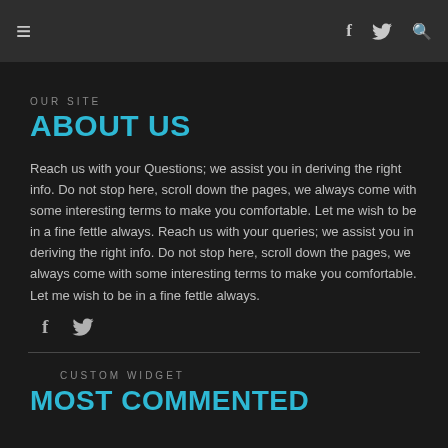≡   f [twitter] [search]
OUR SITE
ABOUT US
Reach us with your Questions; we assist you in deriving the right info. Do not stop here, scroll down the pages, we always come with some interesting terms to make you comfortable. Let me wish to be in a fine fettle always. Reach us with your queries; we assist you in deriving the right info. Do not stop here, scroll down the pages, we always come with some interesting terms to make you comfortable. Let me wish to be in a fine fettle always.
[Figure (other): Social share icons row: Facebook f icon and Twitter bird icon]
CUSTOM WIDGET
MOST COMMENTED